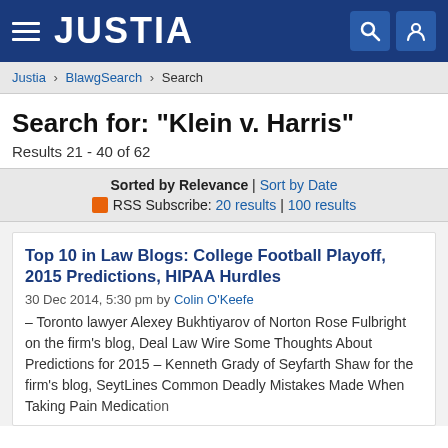JUSTIA
Justia › BlawgSearch › Search
Search for: "Klein v. Harris"
Results 21 - 40 of 62
Sorted by Relevance | Sort by Date
RSS Subscribe: 20 results | 100 results
Top 10 in Law Blogs: College Football Playoff, 2015 Predictions, HIPAA Hurdles
30 Dec 2014, 5:30 pm by Colin O'Keefe
– Toronto lawyer Alexey Bukhtiyarov of Norton Rose Fulbright on the firm's blog, Deal Law Wire Some Thoughts About Predictions for 2015 – Kenneth Grady of Seyfarth Shaw for the firm's blog, SeytLines Common Deadly Mistakes Made When Taking Pain Medication...